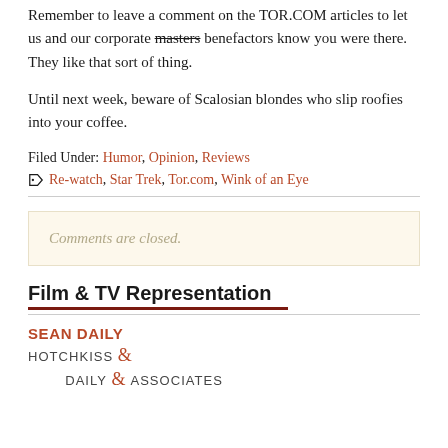Remember to leave a comment on the TOR.COM articles to let us and our corporate masters benefactors know you were there. They like that sort of thing.
Until next week, beware of Scalosian blondes who slip roofies into your coffee.
Filed Under: Humor, Opinion, Reviews
Re-watch, Star Trek, Tor.com, Wink of an Eye
Comments are closed.
Film & TV Representation
SEAN DAILY
HOTCHKISS & DAILY & ASSOCIATES